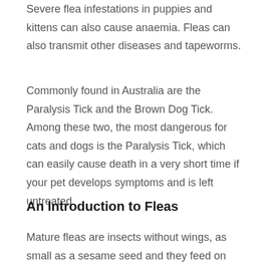Severe flea infestations in puppies and kittens can also cause anaemia. Fleas can also transmit other diseases and tapeworms.
Commonly found in Australia are the Paralysis Tick and the Brown Dog Tick. Among these two, the most dangerous for cats and dogs is the Paralysis Tick, which can easily cause death in a very short time if your pet develops symptoms and is left untreated.
An Introduction to Fleas
Mature fleas are insects without wings, as small as a sesame seed and they feed on other animal's